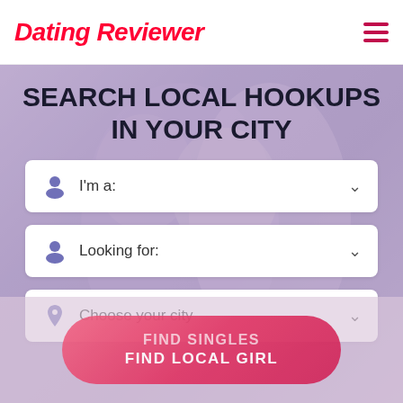Dating Reviewer
SEARCH LOCAL HOOKUPS IN YOUR CITY
I'm a:
Looking for:
Choose your city
FIND SINGLES
FIND LOCAL GIRL